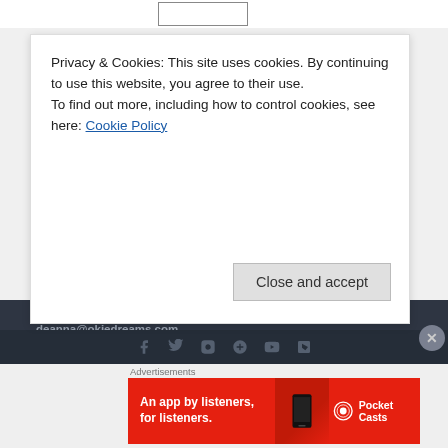Privacy & Cookies: This site uses cookies. By continuing to use this website, you agree to their use. To find out more, including how to control cookies, see here: Cookie Policy
Close and accept
For comments, questions, and concerns, you can contact Deanna at deanna@okiedreams.com.
For all feature, spotlight, and review requests, you can contact Deanna at: deanna@okiedreams.com or dlynnrw@gmail.com
[Figure (other): Social media icons row: Facebook, Twitter, Instagram, Pinterest, YouTube, Tumblr]
Advertisements
[Figure (other): Pocket Casts advertisement banner: An app by listeners, for listeners.]